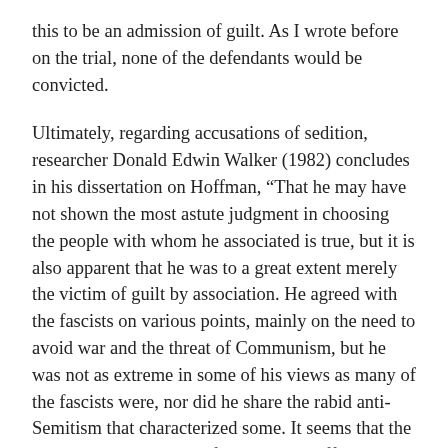this to be an admission of guilt. As I wrote before on the trial, none of the defendants would be convicted.
Ultimately, regarding accusations of sedition, researcher Donald Edwin Walker (1982) concludes in his dissertation on Hoffman, “That he may have not shown the most astute judgment in choosing the people with whom he associated is true, but it is also apparent that he was to a great extent merely the victim of guilt by association. He agreed with the fascists on various points, mainly on the need to avoid war and the threat of Communism, but he was not as extreme in some of his views as many of the fascists were, nor did he share the rabid anti-Semitism that characterized some. It seems that the connection between the fascists and Hoffman was simply that they used each other as a means to disseminate some of their ideas” (143). Hoffman did indeed never criticize the war effort itself, and his constituents agreed that he was patriotic